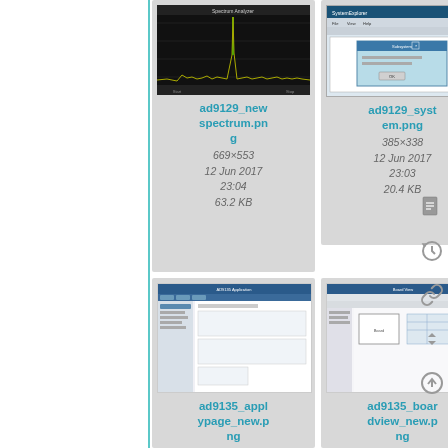[Figure (screenshot): Spectrum analyzer screenshot with dark background and yellow/green signal waveform]
ad9129_new spectrum.png
669×553
12 Jun 2017 23:04
63.2 KB
[Figure (screenshot): System dialog screenshot with light UI, showing a configuration window]
ad9129_system.png
385×338
12 Jun 2017 23:03
20.4 KB
[Figure (screenshot): Application page screenshot showing a narrow mobile-style UI]
ad9135_applypage_new.png
300×894
[Figure (screenshot): Board view screenshot showing a software interface with board layout]
ad9135_boardview_new.png
1679×997